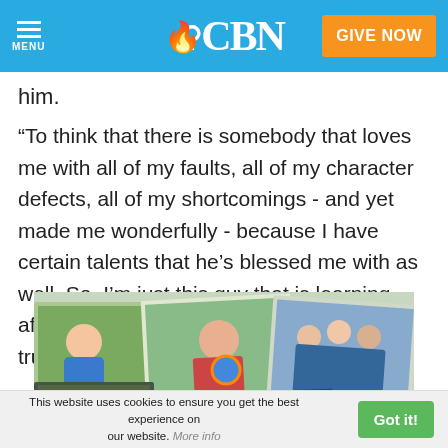CBN - MENU - GIVE NOW
him.
“To think that there is somebody that loves me with all of my faults, all of my character defects, all of my shortcomings - and yet made me wonderfully - because I have certain talents that he’s blessed me with as well. So, I’m just this guy that is learning after a long time, this middle-aged man, to truly love myself for the first time.”
[Figure (photo): Collage of multiple photos showing smiling people, outdoor scenes, children, groups, and a sign reading 'you are invited to']
This website uses cookies to ensure you get the best experience on our website. More info  Got it!